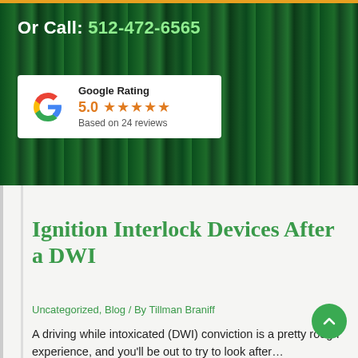Or Call: 512-472-6565
[Figure (infographic): Google Rating badge showing 5.0 stars based on 24 reviews, with Google 'G' logo in red, yellow, green, blue colors]
Ignition Interlock Devices After a DWI
Uncategorized, Blog / By Tillman Braniff
A driving while intoxicated (DWI) conviction is a pretty rough experience, and you'll be out to try to look after...